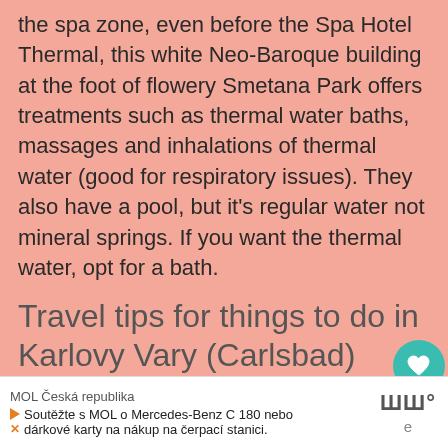the spa zone, even before the Spa Hotel Thermal, this white Neo-Baroque building at the foot of flowery Smetana Park offers treatments such as thermal water baths, massages and inhalations of thermal water (good for respiratory issues). They also have a pool, but it's regular water not mineral springs. If you want the thermal water, opt for a bath.
Travel tips for things to do in Karlovy Vary (Carlsbad)
Getting to Karlovy Vary
By train: There are two train stations in town. If you're taking the train to Karlovy Vary from Prague, and you probably won't be as it's a 3.5 hour journey, you'll end up at
[Figure (other): Teal circular heart/favourite button with heart icon, count label 466, and teal circular share button with share icon on right sidebar]
MOL Česká republika
Soutěžte s MOL o Mercedes-Benz C 180 nebo dárkové karty na nákup na čerpací stanici.